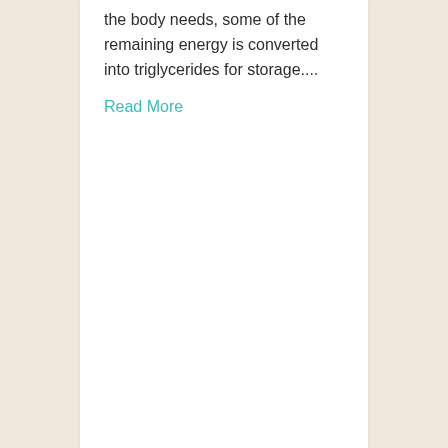the body needs, some of the remaining energy is converted into triglycerides for storage....
Read More